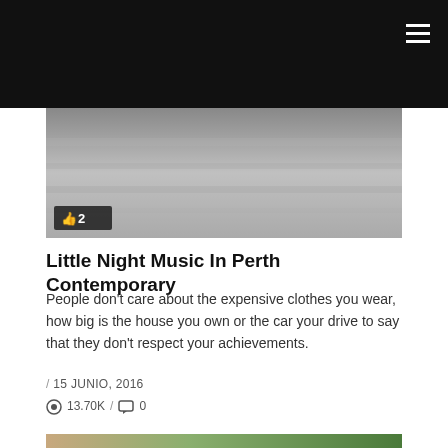[Figure (photo): Top portion of a photo, grayscale/muted tones, partially visible with a Facebook-style like badge showing '2']
Little Night Music In Perth Contemporary
People don't care about the expensive clothes you wear, how big is the house you own or the car your drive to say that they don't respect your achievements.
/ 15 JUNIO, 2016
👁 13.70K / 💬 0
[Figure (photo): Two young women wearing flower/boho headbands, smiling and posing outdoors with green foliage in the background]